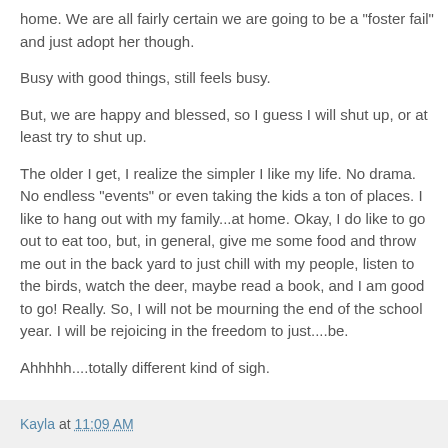home.  We are all fairly certain we are going to be a "foster fail" and just adopt her though.
Busy with good things, still feels busy.
But, we are happy and blessed, so I guess I will shut up, or at least try to shut up.
The older I get, I realize the simpler I like my life.  No drama.  No endless "events" or even taking the kids a ton of places.  I like to hang out with my family...at home.  Okay, I do like to go out to eat too, but, in general, give me some food and throw me out in the back yard to just chill with my people, listen to the birds, watch the deer, maybe read a book, and I am good to go! Really. So, I will not be mourning the end of the school year.  I will be rejoicing in the freedom to just....be.
Ahhhhh....totally different kind of sigh.
Kayla at 11:09 AM